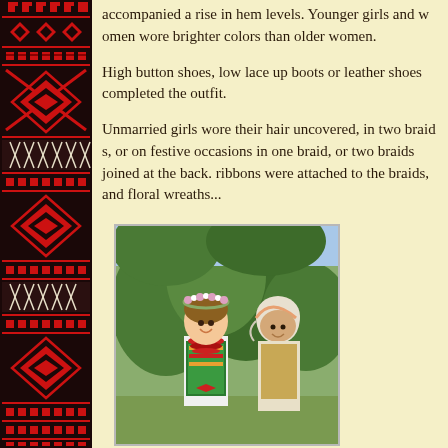[Figure (illustration): Left border strip showing traditional Ukrainian/Polish embroidery pattern with red, black, and white cross-stitch geometric designs on dark background]
accompanied a rise in hem levels. Younger girls and women wore brighter colors than older women.
High button shoes, low lace up boots or leather shoes completed the outfit.
Unmarried girls wore their hair uncovered, in two braids, or on festive occasions in one braid, or two braids joined at the back. Ribbons were attached to the braids, and floral wreaths...
[Figure (photo): A young girl in traditional Polish/Ukrainian folk costume with floral wreath, colorful embroidered vest, red beaded necklace, and white blouse, smiling outdoors next to an elderly woman in traditional white headscarf and folk clothing, with green trees in background]